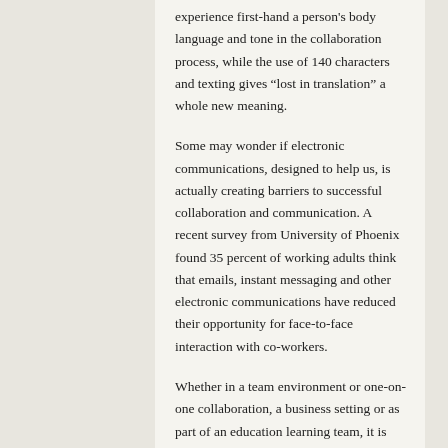experience first-hand a person's body language and tone in the collaboration process, while the use of 140 characters and texting gives “lost in translation” a whole new meaning.
Some may wonder if electronic communications, designed to help us, is actually creating barriers to successful collaboration and communication. A recent survey from University of Phoenix found 35 percent of working adults think that emails, instant messaging and other electronic communications have reduced their opportunity for face-to-face interaction with co-workers.
Whether in a team environment or one-on-one collaboration, a business setting or as part of an education learning team, it is important to remember how you communicate can make all the difference. Here are a few tips to communicate effectively: